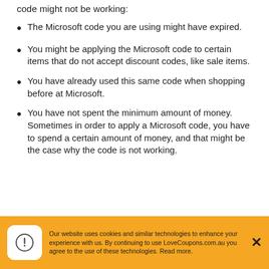code might not be working:
The Microsoft code you are using might have expired.
You might be applying the Microsoft code to certain items that do not accept discount codes, like sale items.
You have already used this same code when shopping before at Microsoft.
You have not spent the minimum amount of money. Sometimes in order to apply a Microsoft code, you have to spend a certain amount of money, and that might be the case why the code is not working.
Our website uses cookies and similar technologies to enhance your experience with us. By continuing to use LoveCoupons.com.au you agree to the use of these technologies. Read more.